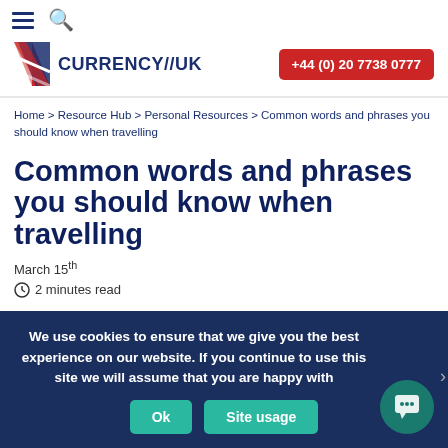CURRENCY//UK  +44 (0) 20 7738 0777
Home > Resource Hub > Personal Resources > Common words and phrases you should know when travelling
Common words and phrases you should know when travelling
March 15th
2 minutes read
We use cookies to ensure that we give you the best experience on our website. If you continue to use this site we will assume that you are happy with